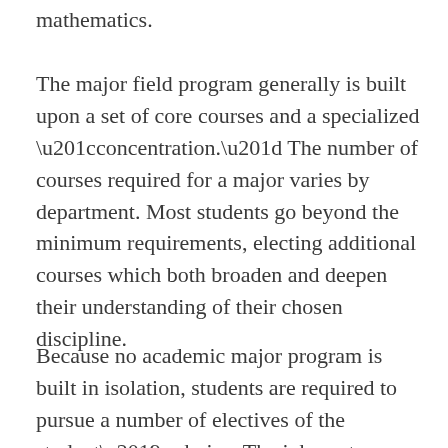mathematics.
The major field program generally is built upon a set of core courses and a specialized “concentration.” The number of courses required for a major varies by department. Most students go beyond the minimum requirements, electing additional courses which both broaden and deepen their understanding of their chosen discipline.
Because no academic major program is built in isolation, students are required to pursue a number of electives of the student’s choice. The inherent flexibility of this curriculum demands that the student consult an academic advisor at